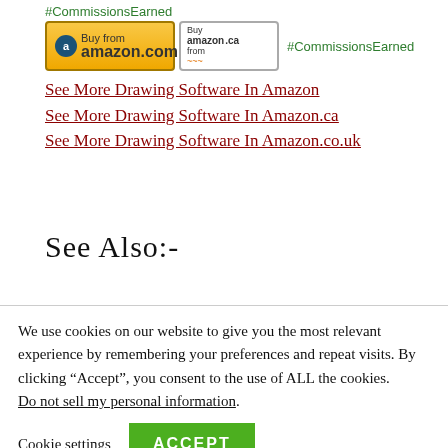#CommissionsEarned
[Figure (other): Buy from amazon.com button (gold/orange) and Buy from amazon.ca button (white), followed by #CommissionsEarned text in green]
See More Drawing Software In Amazon
See More Drawing Software In Amazon.ca
See More Drawing Software In Amazon.co.uk
See Also:-
We use cookies on our website to give you the most relevant experience by remembering your preferences and repeat visits. By clicking “Accept”, you consent to the use of ALL the cookies. Do not sell my personal information.
Cookie settings    ACCEPT